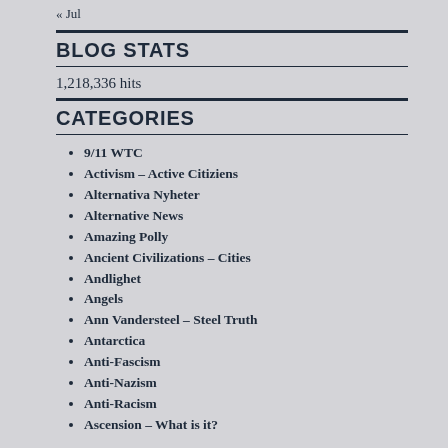« Jul
BLOG STATS
1,218,336 hits
CATEGORIES
9/11 WTC
Activism – Active Citiziens
Alternativa Nyheter
Alternative News
Amazing Polly
Ancient Civilizations – Cities
Andlighet
Angels
Ann Vandersteel – Steel Truth
Antarctica
Anti-Fascism
Anti-Nazism
Anti-Racism
Ascension – What is it?